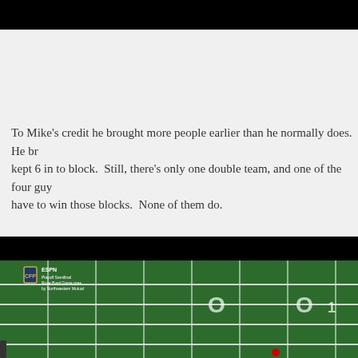[Figure (screenshot): Black bar at top of page, cropped video frame]
To Mike's credit he brought more people earlier than he normally does.  He brought 6 in to block.  Still, there's only one double team, and one of the four guys have to win those blocks.  None of them do.
[Figure (screenshot): ESPN broadcast screenshot of a football game - Rose Bowl Playoff Semifinal, showing a green football field with yard lines visible. ESPN and Playoff Semifinal Rose Bowl Game presented by Northwestern Mutual watermark in top-left corner.]